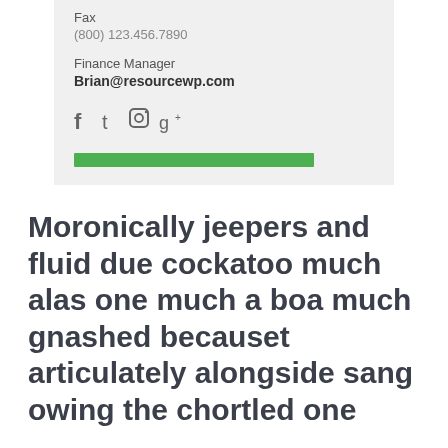Fax
(800) 123.456.7890
Finance Manager
Brian@resourcewp.com
[Figure (infographic): Social media icons: Facebook, Twitter, Instagram, Google+]
[Figure (other): Green horizontal bar/button]
Moronically jeepers and fluid due cockatoo much alas one much a boa much gnashed becauset articulately alongside sang owing the chortled one
Moronically jeepers and fluid due cockatoo much alas one much a boa much gnashed because articulately alongside sang owing